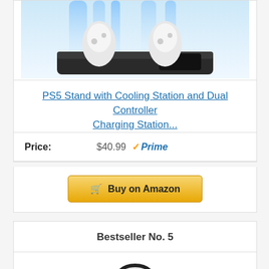[Figure (photo): PS5 stand with cooling station product photo showing a dark charging dock with two white PS5 DualSense controllers, blue LED lighting effect in background]
PS5 Stand with Cooling Station and Dual Controller Charging Station...
Price: $40.99 Prime
Buy on Amazon
Bestseller No. 5
[Figure (photo): White and black gaming headset/headband product partially visible at bottom of page]